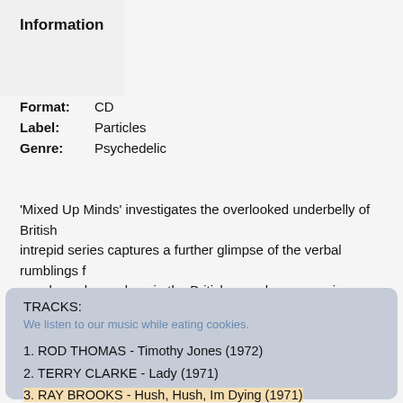Information
Format: CD
Label: Particles
Genre: Psychedelic
'Mixed Up Minds' investigates the overlooked underbelly of British intrepid series captures a further glimpse of the verbal rumblings f wonders whose place in the British pop phenomena is now safely
TRACKS:
We listen to our music while eating cookies.
1. ROD THOMAS - Timothy Jones (1972)
2. TERRY CLARKE - Lady (1971)
3. RAY BROOKS - Hush, Hush, Im Dying (1971)
4. GRAHAM LAYDEN - All You Lovers (1972)
5. ADVOCATES - Blind Eyes (1973)